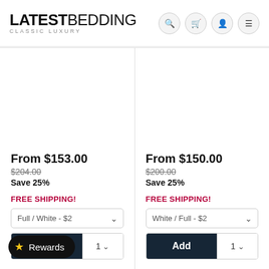LATEST BEDDING CLASSIC LUXURY
From $153.00
$204.00
Save 25%
FREE SHIPPING!
Full / White - $2
Add 1
From $150.00
$200.00
Save 25%
FREE SHIPPING!
White / Full - $2
Add 1
Rewards